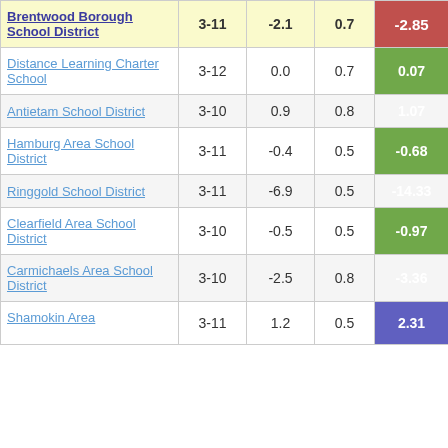| School District | Grades | Col3 | Col4 | Score |
| --- | --- | --- | --- | --- |
| Brentwood Borough School District | 3-11 | -2.1 | 0.7 | -2.85 |
| Distance Learning Charter School | 3-12 | 0.0 | 0.7 | 0.07 |
| Antietam School District | 3-10 | 0.9 | 0.8 | 1.07 |
| Hamburg Area School District | 3-11 | -0.4 | 0.5 | -0.68 |
| Ringgold School District | 3-11 | -6.9 | 0.5 | -14.33 |
| Clearfield Area School District | 3-10 | -0.5 | 0.5 | -0.97 |
| Carmichaels Area School District | 3-10 | -2.5 | 0.8 | -3.36 |
| Shamokin Area ... | 3-11 | 1.2 | 0.5 | 2.31 |